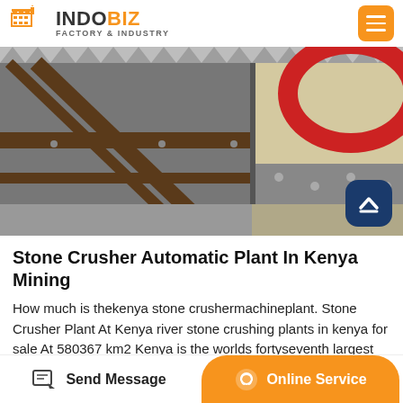INDOBIZ FACTORY & INDUSTRY
[Figure (photo): Industrial stone crusher machine equipment photographed from above, showing metal frames, crushing jaws, and machinery parts against a grey concrete background.]
Stone Crusher Automatic Plant In Kenya Mining
How much is thekenya stone crushermachineplant. Stone Crusher Plant At Kenya river stone crushing plants in kenya for sale At 580367 km2 Kenya is the worlds fortyseventh largest country after Madagascar From the coast on the Indian Ocean
Send Message | Online Service